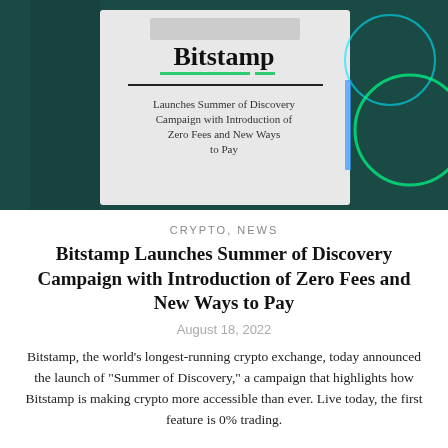[Figure (photo): Promotional image showing Bitstamp logo on a card with text 'Launches Summer of Discovery Campaign with Introduction of Zero Fees and New Ways to Pay' against a dark teal background with glowing neon circular shapes]
CRYPTO, NEWS
Bitstamp Launches Summer of Discovery Campaign with Introduction of Zero Fees and New Ways to Pay
August 18, 2022
Bitstamp, the world’s longest-running crypto exchange, today announced the launch of “Summer of Discovery,” a campaign that highlights how Bitstamp is making crypto more accessible than ever. Live today, the first feature is 0% trading.